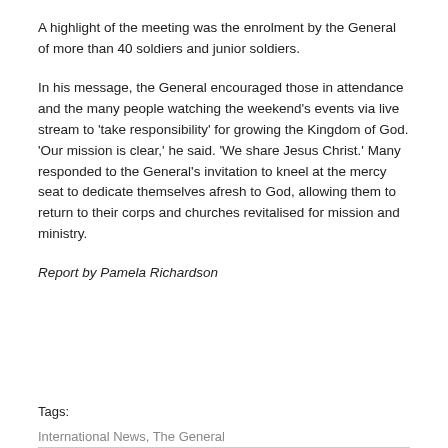A highlight of the meeting was the enrolment by the General of more than 40 soldiers and junior soldiers.
In his message, the General encouraged those in attendance and the many people watching the weekend’s events via live stream to ‘take responsibility’ for growing the Kingdom of God. ‘Our mission is clear,’ he said. ‘We share Jesus Christ.’ Many responded to the General’s invitation to kneel at the mercy seat to dedicate themselves afresh to God, allowing them to return to their corps and churches revitalised for mission and ministry.
Report by Pamela Richardson
Tags:
International News, The General